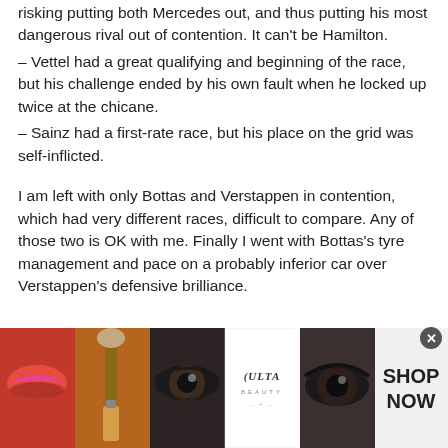risking putting both Mercedes out, and thus putting his most dangerous rival out of contention. It can't be Hamilton.
– Vettel had a great qualifying and beginning of the race, but his challenge ended by his own fault when he locked up twice at the chicane.
– Sainz had a first-rate race, but his place on the grid was self-inflicted.
I am left with only Bottas and Verstappen in contention, which had very different races, difficult to compare. Any of those two is OK with me. Finally I went with Bottas's tyre management and pace on a probably inferior car over Verstappen's defensive brilliance.
[Figure (photo): ULTA Beauty advertisement banner showing makeup imagery — lips with red lipstick, makeup brush, eye close-ups, ULTA logo, and SHOP NOW call to action]